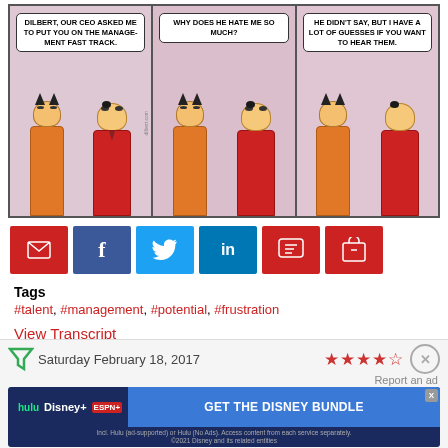[Figure (illustration): Dilbert comic strip with three panels. Panel 1: Boss character says 'DILBERT, OUR CEO ASKED ME TO PUT YOU ON THE MANAGEMENT FAST TRACK.' Panel 2: Dilbert asks 'WHY DOES HE HATE ME SO MUCH?' Panel 3: Boss replies 'HE DIDN'T SAY, BUT I HAVE A LOT OF GUESSES IF YOU WANT TO HEAR THEM.']
Social sharing buttons: Email, Facebook, Twitter, LinkedIn, Comment, Cart
Tags
#talent, #management, #potential, #frustration
View Transcript
Saturday February 18, 2017
[Figure (screenshot): Advertisement banner for Disney Bundle featuring Hulu, Disney+, and ESPN+ logos with text 'GET THE DISNEY BUNDLE'. Subtext: 'Incl. Hulu (ad-supported) or Hulu (No Ads). Access content from each service separately. ©2021 Disney and its related entities']